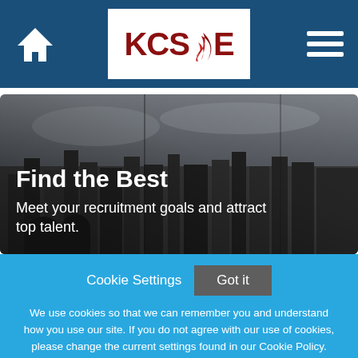[Figure (logo): KCSNE logo with flame graphic in dark red on white background, in navigation header]
[Figure (screenshot): Website screenshot showing a recruitment agency homepage with hero image of city skyline silhouette and cookie consent banner]
Find the Best
Meet your recruitment goals and attract top talent.
Cookie Settings   Got it
We use cookies so that we can remember you and understand how you use our site. If you do not agree with our use of cookies, please change the current settings found in our Cookie Policy. Otherwise, you agree to the use of the cookies as they are currently set.